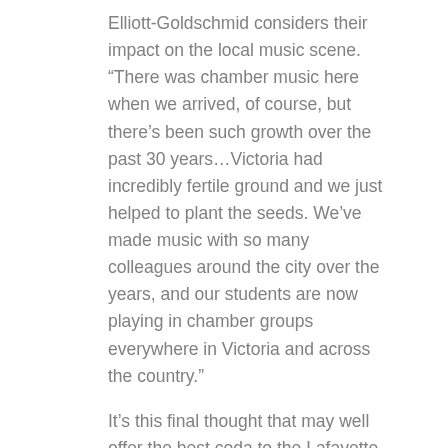Elliott-Goldschmid considers their impact on the local music scene. “There was chamber music here when we arrived, of course, but there’s been such growth over the past 30 years…Victoria had incredibly fertile ground and we just helped to plant the seeds. We’ve made music with so many colleagues around the city over the years, and our students are now playing in chamber groups everywhere in Victoria and across the country.”
It’s this final thought that may well offer the best coda to the Lafayette String Quartet’s legacy. Thanks to their dedicated mentorship, the LSQ is surrounded by a generation of student musicians who are now succeeding as peers in ensembles, symphonies and